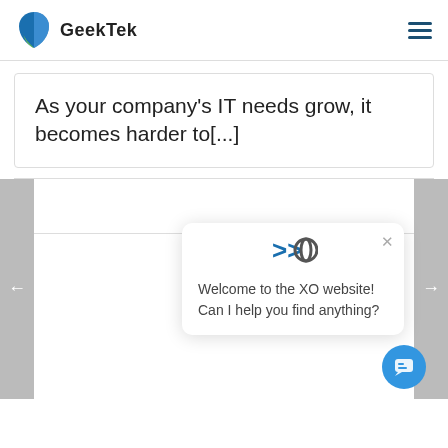GeekTek
As your company’s IT needs grow, it becomes harder to[...]
[Figure (screenshot): Website screenshot showing GeekTek navigation page with a chat widget overlay. The chat widget contains the XO logo, a close button, and the message: Welcome to the XO website! Can I help you find anything? A blue chat FAB button appears in the bottom right.]